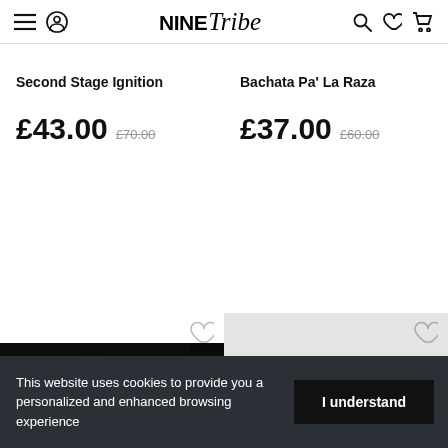NINE Tribe — navigation header with menu, account, search, wishlist, cart icons
Second Stage Ignition
£43.00 £70.00
Bachata Pa' La Raza
£37.00 £60.00
[Figure (photo): Album cover for 'Pain is Beauty' showing a dark-haired woman against a black background with red gothic text]
[Figure (photo): Light grey placeholder card with wishlist heart icon and scroll-to-top circular button]
This website uses cookies to provide you a personalized and enhanced browsing experience